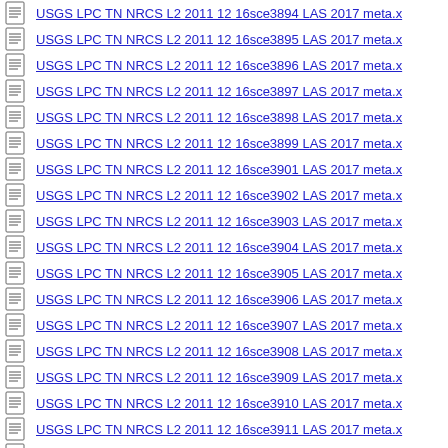USGS LPC TN NRCS L2 2011 12 16sce3894 LAS 2017 meta.x
USGS LPC TN NRCS L2 2011 12 16sce3895 LAS 2017 meta.x
USGS LPC TN NRCS L2 2011 12 16sce3896 LAS 2017 meta.x
USGS LPC TN NRCS L2 2011 12 16sce3897 LAS 2017 meta.x
USGS LPC TN NRCS L2 2011 12 16sce3898 LAS 2017 meta.x
USGS LPC TN NRCS L2 2011 12 16sce3899 LAS 2017 meta.x
USGS LPC TN NRCS L2 2011 12 16sce3901 LAS 2017 meta.x
USGS LPC TN NRCS L2 2011 12 16sce3902 LAS 2017 meta.x
USGS LPC TN NRCS L2 2011 12 16sce3903 LAS 2017 meta.x
USGS LPC TN NRCS L2 2011 12 16sce3904 LAS 2017 meta.x
USGS LPC TN NRCS L2 2011 12 16sce3905 LAS 2017 meta.x
USGS LPC TN NRCS L2 2011 12 16sce3906 LAS 2017 meta.x
USGS LPC TN NRCS L2 2011 12 16sce3907 LAS 2017 meta.x
USGS LPC TN NRCS L2 2011 12 16sce3908 LAS 2017 meta.x
USGS LPC TN NRCS L2 2011 12 16sce3909 LAS 2017 meta.x
USGS LPC TN NRCS L2 2011 12 16sce3910 LAS 2017 meta.x
USGS LPC TN NRCS L2 2011 12 16sce3911 LAS 2017 meta.x
USGS LPC TN NRCS L2 2011 12 16sce3912 LAS 2017 meta.